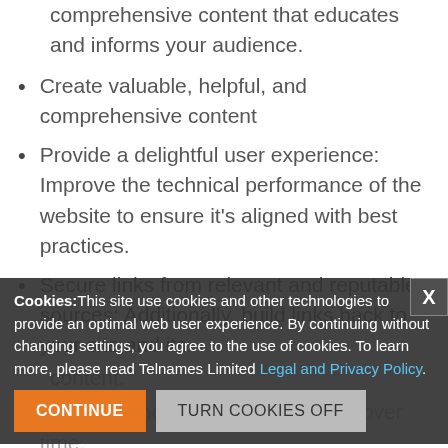comprehensive content that educates and informs your audience.
Create valuable, helpful, and comprehensive content
Provide a delightful user experience: Improve the technical performance of the website to ensure it's aligned with best practices.
Secure links from relevant and reputable sources: Additionally, build links back to your site and its content.
Optimize and refresh your content over time.
Cookies: This site use cookies and other technologies to provide an optimal web user experience. By continuing without changing settings, you agree to the use of cookies. To learn more, please read Telnames Limited Legal and Privacy Policy.
III: How Solopreneurs, Startups and Small Businesses Can Jumpstart their SEO Journeys
Nick Chasinov's Top 3:
Don't just focus on keywords and search volume